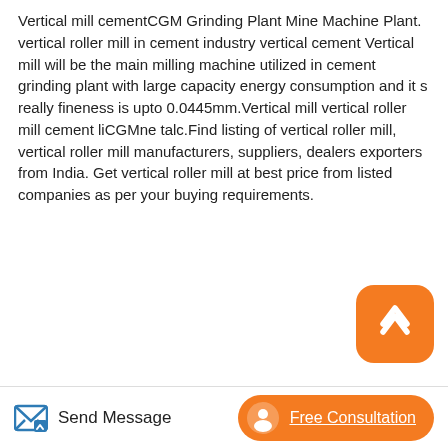Vertical mill cementCGM Grinding Plant Mine Machine Plant. vertical roller mill in cement industry vertical cement Vertical mill will be the main milling machine utilized in cement grinding plant with large capacity energy consumption and it s really fineness is upto 0.0445mm.Vertical mill vertical roller mill cement liCGMne talc.Find listing of vertical roller mill, vertical roller mill manufacturers, suppliers, dealers exporters from India. Get vertical roller mill at best price from listed companies as per your buying requirements.
[Figure (other): Orange rounded square button with white upward chevron/arrow icon for scrolling to top]
Related Articles
Mape Grinding Machine Type 201 Ml Sn
Send Message   Free Consultation